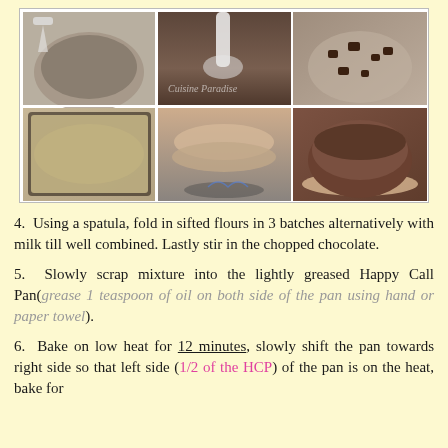[Figure (photo): Six-panel photo collage showing steps of making a chocolate cake batter in a glass bowl, pouring milk, adding chopped chocolate, spreading batter into a Happy Call Pan, cooking on a gas stove, and the finished baked cake.]
4. Using a spatula, fold in sifted flours in 3 batches alternatively with milk till well combined. Lastly stir in the chopped chocolate.
5. Slowly scrap mixture into the lightly greased Happy Call Pan(grease 1 teaspoon of oil on both side of the pan using hand or paper towel).
6. Bake on low heat for 12 minutes, slowly shift the pan towards right side so that left side (1/2 of the HCP) of the pan is on the heat, bake for